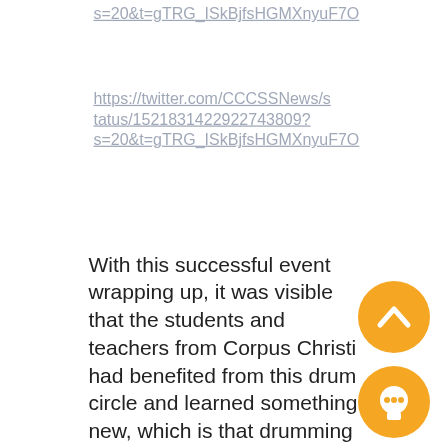s=20&t=gTRG_ISkBjfsHGMXnyuF7O
https://twitter.com/CCCSSNews/status/1521831422922743809?s=20&t=gTRG_ISkBjfsHGMXnyuF7O
With this successful event wrapping up, it was visible that the students and teachers from Corpus Christi had benefited from this drum circle and learned something new, which is that drumming can bring a lot of different benefits and can be done in big groups.
If you're considering doing a drum circle with your peers or loved ones look no further, we offer